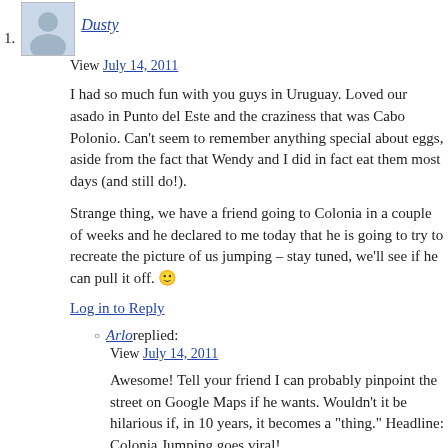1. Dusty
View July 14, 2011
I had so much fun with you guys in Uruguay. Loved our asado in Punto del Este and the craziness that was Cabo Polonio. Can't seem to remember anything special about eggs, aside from the fact that Wendy and I did in fact eat them most days (and still do!).
Strange thing, we have a friend going to Colonia in a couple of weeks and he declared to me today that he is going to try to recreate the picture of us jumping – stay tuned, we'll see if he can pull it off. 🙂
Log in to Reply
Arlo replied: View July 14, 2011
Awesome! Tell your friend I can probably pinpoint the street on Google Maps if he wants. Wouldn't it be hilarious if, in 10 years, it becomes a "thing." Headline: Colonia Jumping goes viral!